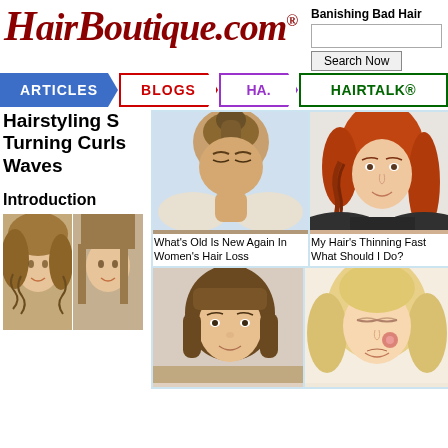[Figure (logo): HairBoutique.com logo in dark red italic serif font with registered trademark symbol]
Banishing Bad Hair
[Figure (screenshot): Search box and Search Now button]
[Figure (screenshot): Navigation bar with ARTICLES (blue), BLOGS (red), HA... (purple), HAIRTALK® (green) tabs]
Hairstyling S Turning Curls Waves
Introduction
[Figure (photo): Woman with curly hair, split image showing straight vs curly]
[Figure (photo): Woman with dark hair in updo/ponytail viewed from above]
What's Old Is New Again In Women's Hair Loss
[Figure (photo): Red-haired woman with braid along the side, smiling]
My Hair's Thinning Fast What Should I Do?
[Figure (photo): Woman with short brown bob hairstyle]
[Figure (photo): Blonde woman with eyes closed, close-up beauty shot]